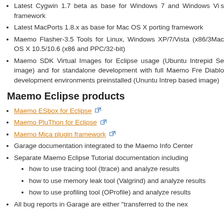Latest Cygwin 1.7 beta as base for Windows 7 and Windows Vista framework
Latest MacPorts 1.8.x as base for Mac OS X porting framework
Maemo Flasher-3.5 Tools for Linux, Windows XP/7/Vista (x86/3... Mac OS X 10.5/10.6 (x86 and PPC/32-bit)
Maemo SDK Virtual Images for Eclipse usage (Ubuntu Intrepid Ser... image) and for standalone development with full Maemo Frem... Diablo development environments preinstalled (Ununtu Intrepid... based image)
Maemo Eclipse products
Maemo ESbox for Eclipse
Maemo PluThon for Eclipse
Maemo Mica plugin framework
Garage documentation integrated to the Maemo Info Center
Separate Maemo Eclipse Tutorial documentation including
how to use tracing tool (ltrace) and analyze results
how to use memory leak tool (Valgrind) and analyze results
how to use profiling tool (OProfile) and analyze results
All bug reports in Garage are either "transferred to the next..."